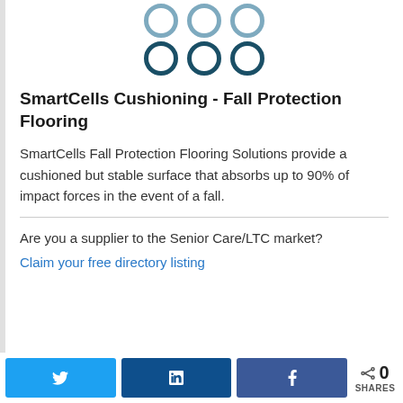[Figure (logo): SmartCells logo: two rows of three circles. Top row has lighter blue outlined circles, bottom row has darker teal outlined circles.]
SmartCells Cushioning - Fall Protection Flooring
SmartCells Fall Protection Flooring Solutions provide a cushioned but stable surface that absorbs up to 90% of impact forces in the event of a fall.
Are you a supplier to the Senior Care/LTC market?
Claim your free directory listing
0 SHARES (Twitter, LinkedIn, Facebook share buttons)